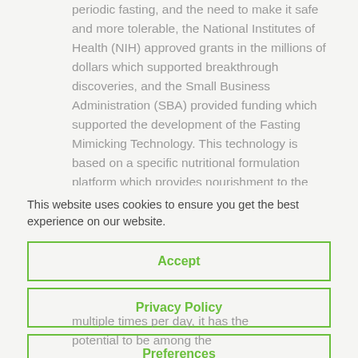periodic fasting, and the need to make it safe and more tolerable, the National Institutes of Health (NIH) approved grants in the millions of dollars which supported breakthrough discoveries, and the Small Business Administration (SBA) provided funding which supported the development of the Fasting Mimicking Technology. This technology is based on a specific nutritional formulation platform which provides nourishment to the body while keeping cells in a fasting mode – providing many health
This website uses cookies to ensure you get the best experience on our website.
Accept
Privacy Policy
Preferences
multiple times per day, it has the potential to be among the